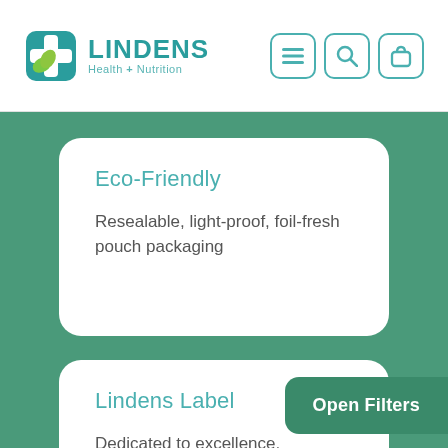[Figure (logo): Lindens Health + Nutrition logo with teal cross and green leaf icon]
[Figure (screenshot): Navigation icons: hamburger menu, search, and shopping bag, each in rounded square borders]
Eco-Friendly
Resealable, light-proof, foil-fresh pouch packaging
Lindens Label
Dedicated to excellence, innovation and s...
Open Filters